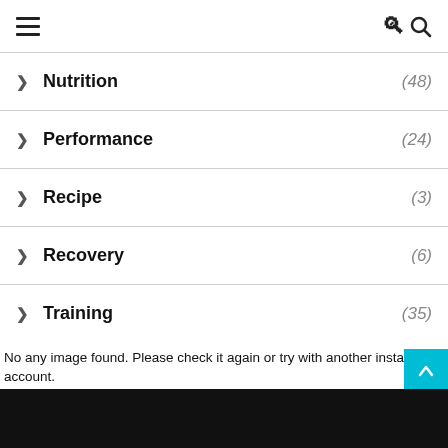≡ [hamburger menu] [search icon]
Nutrition (48)
Performance (24)
Recipe (3)
Recovery (6)
Training (35)
Uncategorized (4)
No any image found. Please check it again or try with another instagram account.